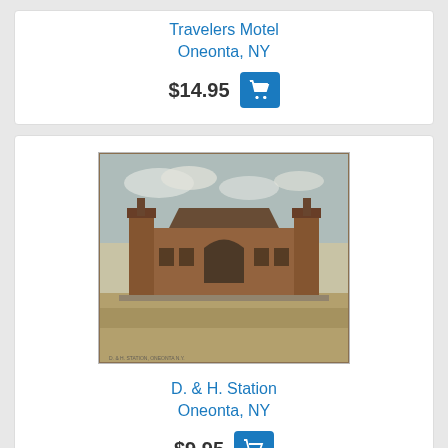Travelers Motel
Oneonta, NY
$14.95
[Figure (photo): Vintage colorized postcard of the D. & H. Station in Oneonta, NY, showing a brick railroad station building with arched entrance and two towers]
D. & H. Station
Oneonta, NY
$9.95
[Figure (photo): Partial view of another vintage postcard showing a multi-story building]